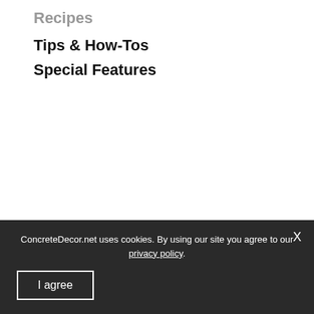Recipes
Tips & How-Tos
Special Features
ConcreteDecor.net uses cookies. By using our site you agree to our privacy policy.
I agree